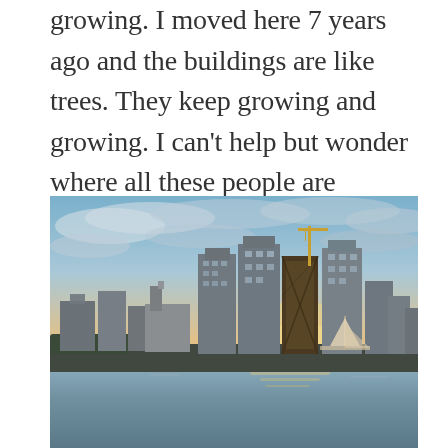growing. I moved here 7 years ago and the buildings are like trees. They keep growing and growing. I can't help but wonder where all these people are coming from.... I heart Miami.
[Figure (photo): Panoramic photo of the Miami skyline at sunset/dusk, showing tall skyscrapers and buildings under construction along a waterfront with a marina and calm reflective water in the foreground, dramatic blue and orange-pink sky with clouds.]